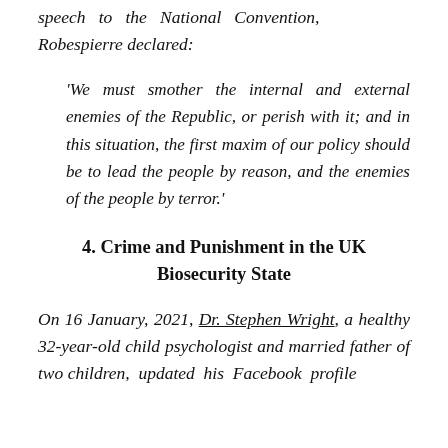speech to the National Convention, Robespierre declared:
'We must smother the internal and external enemies of the Republic, or perish with it; and in this situation, the first maxim of our policy should be to lead the people by reason, and the enemies of the people by terror.'
4. Crime and Punishment in the UK Biosecurity State
On 16 January, 2021, Dr. Stephen Wright, a healthy 32-year-old child psychologist and married father of two children, updated his Facebook profile